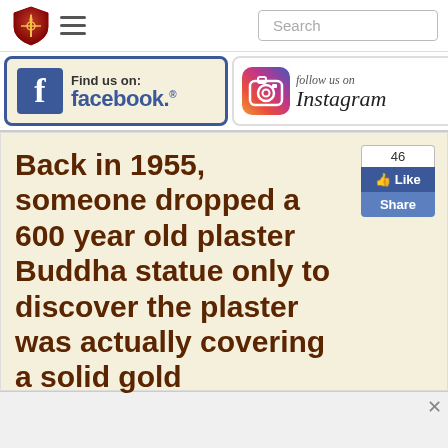Search
[Figure (logo): Facebook - Find us on: facebook. banner with blue border]
[Figure (logo): Instagram - follow us on Instagram banner with camera icon]
Back in 1955, someone dropped a 600 year old plaster Buddha statue only to discover the plaster was actually covering a solid gold